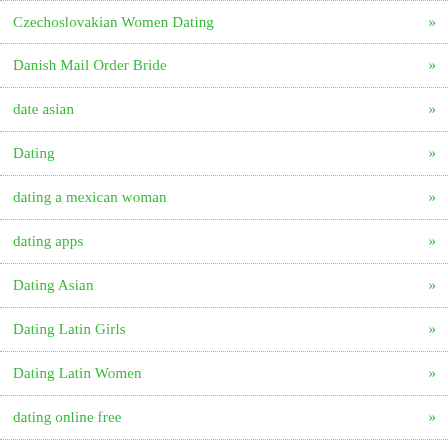Czechoslovakian Women Dating »
Danish Mail Order Bride »
date asian »
Dating »
dating a mexican woman »
dating apps »
Dating Asian »
Dating Latin Girls »
Dating Latin Women »
dating online free »